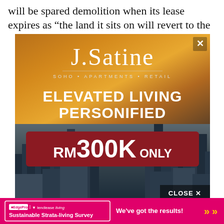will be spared demolition when its lease expires as “the land it sits on will revert to the
[Figure (illustration): J.Satine real estate advertisement overlay showing a city skyline at sunset with text 'ELEVATED LIVING PERSONIFIED' and price 'RM300K ONLY', with SOHO, Apartments, Retail property types listed. Includes a close button (X) and a CLOSE x button at bottom right.]
[Figure (illustration): Bottom banner advertisement for EdgeProp and Lendlease Living Sustainable Strata-living Survey, magenta/pink background, with text 'We've got the results!' and double chevron.]